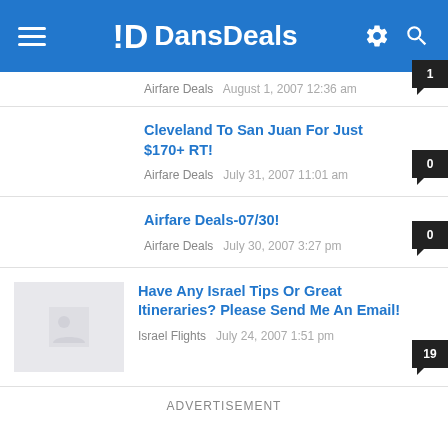DansDeals
Airfare Deals · August 1, 2007 12:36 am · 1 comment
Cleveland To San Juan For Just $170+ RT! · Airfare Deals · July 31, 2007 11:01 am · 0 comments
Airfare Deals-07/30! · Airfare Deals · July 30, 2007 3:27 pm · 0 comments
Have Any Israel Tips Or Great Itineraries? Please Send Me An Email! · Israel Flights · July 24, 2007 1:51 pm · 19 comments
ADVERTISEMENT